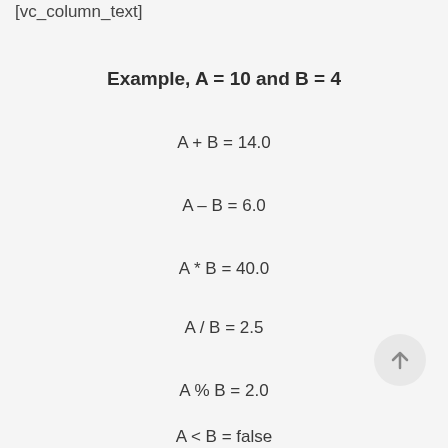[vc_column_text]
Example, A = 10 and B = 4